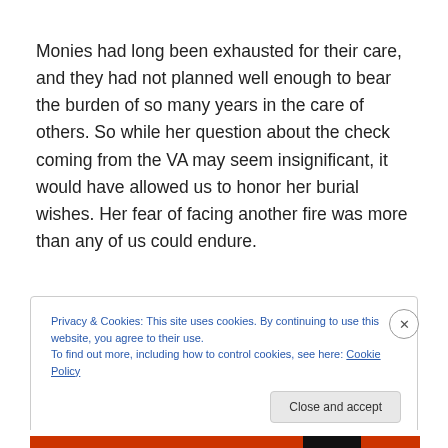Monies had long been exhausted for their care, and they had not planned well enough to bear the burden of so many years in the care of others. So while her question about the check coming from the VA may seem insignificant, it would have allowed us to honor her burial wishes. Her fear of facing another fire was more than any of us could endure.
Privacy & Cookies: This site uses cookies. By continuing to use this website, you agree to their use. To find out more, including how to control cookies, see here: Cookie Policy
Close and accept